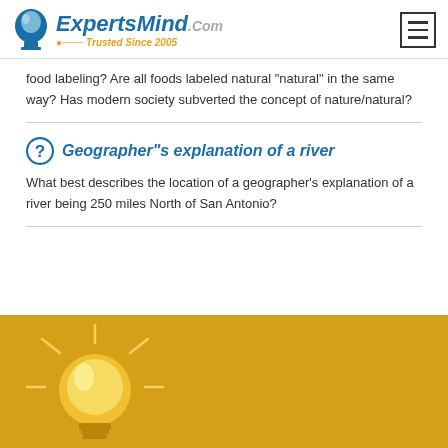ExpertsMind.Com Trusted Since 2005
food labeling? Are all foods labeled natural "natural" in the same way? Has modern society subverted the concept of nature/natural?
Geographer"s explanation of a river
What best describes the location of a geographer's explanation of a river being 250 miles North of San Antonio?
[Figure (illustration): Light bulb icon on golden/amber background footer section]